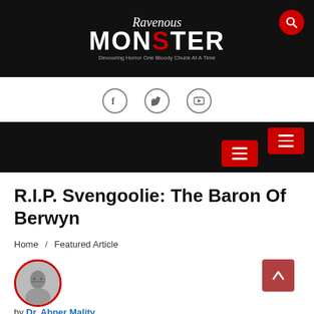Ravenous MONSTER — Devouring Horror One Bloody Chunk At A Time
[Figure (logo): Ravenous Monster horror website logo — white text on black background with red T crossbar in MONSTER, tagline 'Devouring Horror One Bloody Chunk At A Time']
[Figure (infographic): Social media icons: Facebook, Twitter, YouTube circles with gray borders]
[Figure (infographic): Black navigation bar with two red hamburger menu buttons]
R.I.P. Svengoolie: The Baron Of Berwyn
Home / Featured Article
[Figure (photo): Circular author avatar photo with red border showing Dr. Abner Mality, a man with glasses in black and white]
by Dr. Abner Mality
Currently residing in an undisclosed location to retain the purity of his research, Dr. Abner Mality is a former resident of Northern Illinois dedicated to unorthodox medical studies, loud heavy metal music...and horror. Certain misunderstandings regarding his work have forced him to lay low...but rest assured, Ravenous Monster is his...